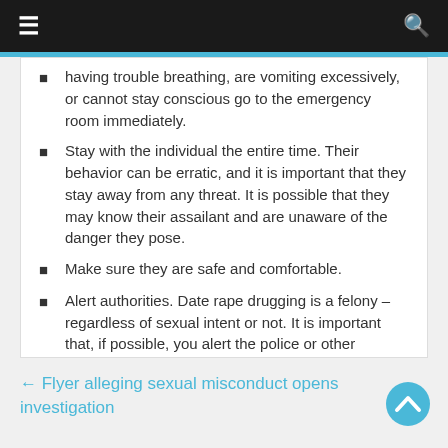≡  🔍
having trouble breathing, are vomiting excessively, or cannot stay conscious go to the emergency room immediately.
Stay with the individual the entire time. Their behavior can be erratic, and it is important that they stay away from any threat. It is possible that they may know their assailant and are unaware of the danger they pose.
Make sure they are safe and comfortable.
Alert authorities. Date rape drugging is a felony – regardless of sexual intent or not. It is important that, if possible, you alert the police or other authority of non-consensual consumption so as to apprehend the culprit.
← Flyer alleging sexual misconduct opens investigation